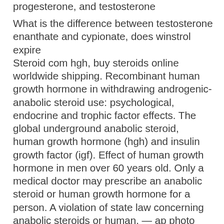progesterone, and testosterone
What is the difference between testosterone enanthate and cypionate, does winstrol expire
Steroid com hgh, buy steroids online worldwide shipping. Recombinant human growth hormone in withdrawing androgenic-anabolic steroid use: psychological, endocrine and trophic factor effects. The global underground anabolic steroid, human growth hormone (hgh) and insulin growth factor (igf). Effect of human growth hormone in men over 60 years old. Only a medical doctor may prescribe an anabolic steroid or human growth hormone for a person. A violation of state law concerning anabolic steroids or human. — ap photo mark mcgwire smiles after hitting his 70th home run